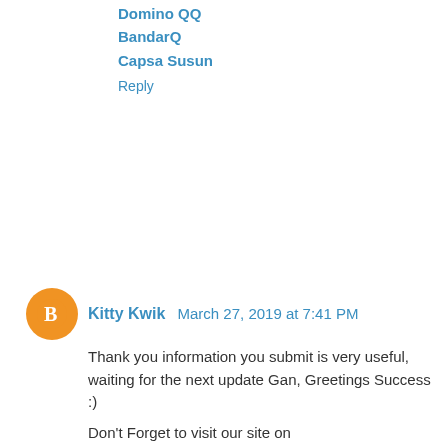Domino QQ
BandarQ
Capsa Susun
Reply
Kitty Kwik  March 27, 2019 at 7:41 PM
Thank you information you submit is very useful, waiting for the next update Gan, Greetings Success :)
Don't Forget to visit our site on
Agen Poker
Poker Online
Agen Domino
Poker Q
Judi Poker
Bandar Q
Daftar Poker
Agen Poker Terpercaya
Agen Domino Terpercaya
Reply